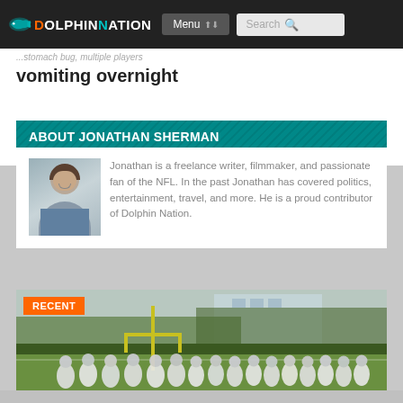DolphinNation — Menu | Search
vomiting overnight
ABOUT JONATHAN SHERMAN
Jonathan is a freelance writer, filmmaker, and passionate fan of the NFL. In the past Jonathan has covered politics, entertainment, travel, and more. He is a proud contributor of Dolphin Nation.
[Figure (photo): Photo of author Jonathan Sherman, a young man with brown hair]
RECENT
[Figure (photo): Football practice photo showing players in white uniforms and helmets gathered near a yellow goal post on a green field]